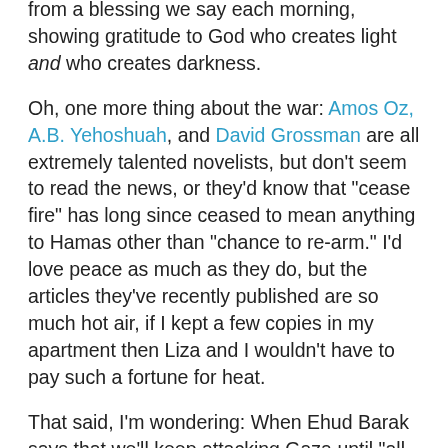from a blessing we say each morning, showing gratitude to God who creates light and who creates darkness.
Oh, one more thing about the war: Amos Oz, A.B. Yehoshuah, and David Grossman are all extremely talented novelists, but don't seem to read the news, or they'd know that "cease fire" has long since ceased to mean anything to Hamas other than "chance to re-arm." I'd love peace as much as they do, but the articles they've recently published are so much hot air, if I kept a few copies in my apartment then Liza and I wouldn't have to pay such a fortune for heat.
That said, I'm wondering: When Ehud Barak says that we'll keep attacking Gaza until "all our goals are met," to what goals, exactly, does he refer? Are there specific targets or people they are still going after? Are they waiting for some specific announcement? Continuing attacks until the Israeli populace feels satisfied with the amount of revenge it's gotten? I'm seriously confused. Emphasis: I agree Israel has to do something - in fact, a response to the thousands of rockets that have rained over Sderot is way overdue. But now that we're finally doing something, how long do we plan to do it? And I know we can all think that we know all...